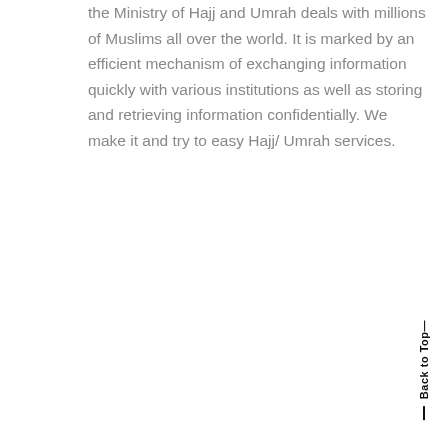the Ministry of Hajj and Umrah deals with millions of Muslims all over the world. It is marked by an efficient mechanism of exchanging information quickly with various institutions as well as storing and retrieving information confidentially. We make it and try to easy Hajj/ Umrah services.
Back to Top—